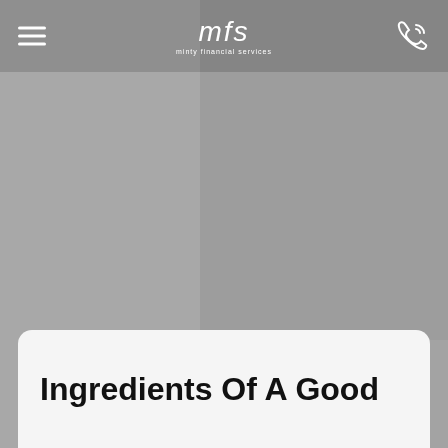[Figure (photo): Background photo of an interior/office scene, muted gray tones]
mfs | minty financial services
Ingredients Of A Good